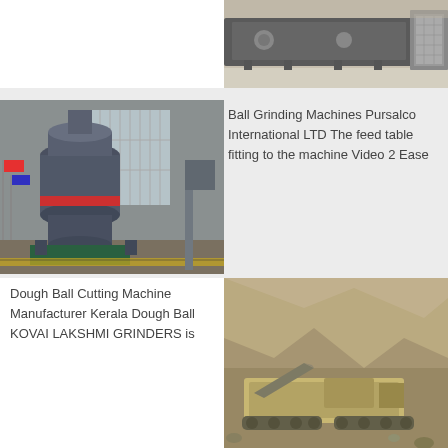[Figure (photo): Industrial vibrating screen or conveyor machine in a warehouse/factory setting]
[Figure (photo): Large ball grinding mill machine inside an industrial facility with high windows and colorful flags]
Ball Grinding Machines Pursalco International LTD The feed table fitting to the machine Video 2 Ease
Dough Ball Cutting Machine Manufacturer Kerala Dough Ball KOVAI LAKSHMI GRINDERS is
[Figure (photo): Mobile crushing or screening equipment at a rocky quarry site]